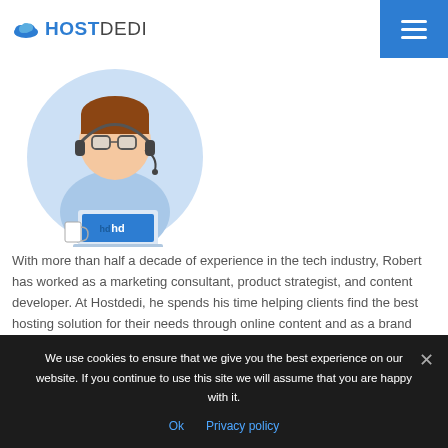HOSTDEDI
[Figure (illustration): Cartoon avatar of a person with glasses and headset working at a laptop, in a circular blue badge style logo]
With more than half a decade of experience in the tech industry, Robert has worked as a marketing consultant, product strategist, and content developer. At Hostdedi, he spends his time helping clients find the best hosting solution for their needs through online content and as a brand ambassador.
Source link
We use cookies to ensure that we give you the best experience on our website. If you continue to use this site we will assume that you are happy with it.
Ok   Privacy policy